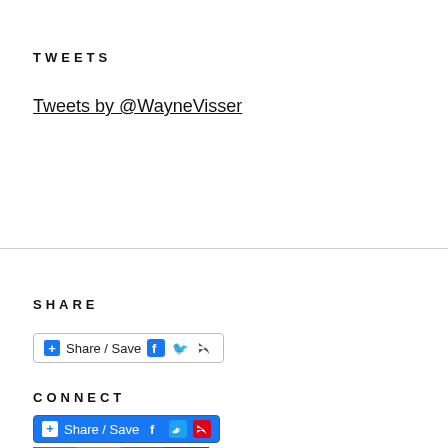TWEETS
Tweets by @WayneVisser
SHARE
[Figure (screenshot): Share / Save button with Facebook and Twitter icons]
CONNECT
[Figure (screenshot): Share / Save button and social media icon row (Facebook, Twitter, LinkedIn, Share)]